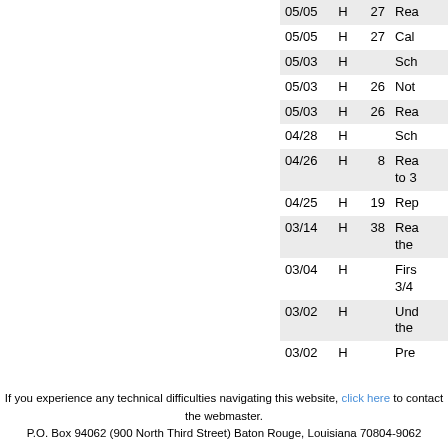| Date | H | Num | Description |
| --- | --- | --- | --- |
| 05/05 | H | 27 | Rea |
| 05/05 | H | 27 | Cal |
| 05/03 | H |  | Sch |
| 05/03 | H | 26 | Not |
| 05/03 | H | 26 | Rea |
| 04/28 | H |  | Sch |
| 04/26 | H | 8 | Rea to 3 |
| 04/25 | H | 19 | Rep |
| 03/14 | H | 38 | Rea the |
| 03/04 | H |  | Firs 3/4 |
| 03/02 | H |  | Und the |
| 03/02 | H |  | Pre |
If you experience any technical difficulties navigating this website, click here to contact the webmaster. P.O. Box 94062 (900 North Third Street) Baton Rouge, Louisiana 70804-9062